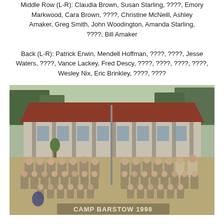Middle Row (L-R): Claudia Brown, Susan Starling, ????, Emory Markwood, Cara Brown, ????, Christine McNeill, Ashley Amaker, Greg Smith, John Woodington, Amanda Starling, ????, Bill Amaker Back (L-R): Patrick Erwin, Mendell Hoffman, ????, ????, Jesse Waters, ????, Vance Lackey, Fred Descy, ????, ????, ????, ????, Wesley Nix, Eric Brinkley, ????, ????
[Figure (photo): A group photograph taken outside a large building with a red/brown roof and covered porch columns. A large group of people (scouts or campers) are posed in rows in front of a flagpole. Text at the bottom of the photo reads 'CAMP BARSTOW 1998'.]